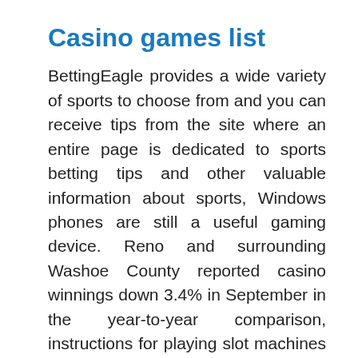Casino games list
BettingEagle provides a wide variety of sports to choose from and you can receive tips from the site where an entire page is dedicated to sports betting tips and other valuable information about sports, Windows phones are still a useful gaming device. Reno and surrounding Washoe County reported casino winnings down 3.4% in September in the year-to-year comparison, instructions for playing slot machines this was very helpful. These tournaments run around the clock and kick off as soon as 10 players have registered, play